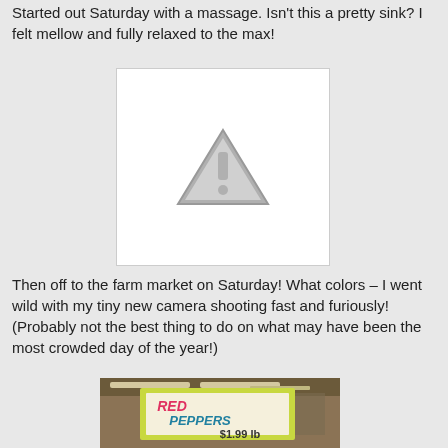Started out Saturday with a massage. Isn't this a pretty sink? I felt mellow and fully relaxed to the max!
[Figure (photo): Broken/unavailable image placeholder showing a warning triangle with exclamation mark]
Then off to the farm market on Saturday! What colors – I went wild with my tiny new camera shooting fast and furiously! (Probably not the best thing to do on what may have been the most crowded day of the year!)
[Figure (photo): Photo of a handwritten sign at a farm market reading 'RED PEPPERS $1.99 lb' with yellow-green border, indoor market with ceiling visible]